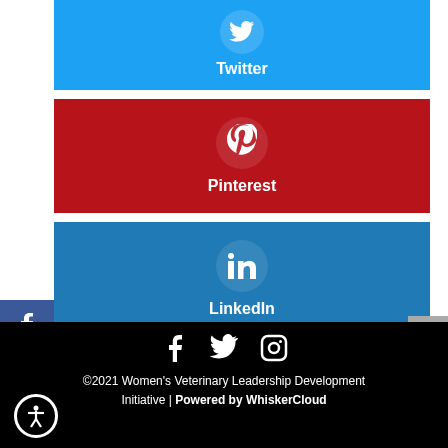[Figure (infographic): Twitter social share button with bird icon, light blue background]
[Figure (infographic): Pinterest social share button with P icon, dark red background]
[Figure (infographic): LinkedIn social share button with 'in' icon, blue background]
[Figure (infographic): Left sidebar with Facebook, Twitter, and Instagram icon buttons]
[Figure (infographic): Back to top button, grey, right side]
[Figure (infographic): Footer with Facebook, Twitter, Instagram icons and copyright text]
©2021 Women's Veterinary Leadership Development Initiative | Powered by WhiskerCloud